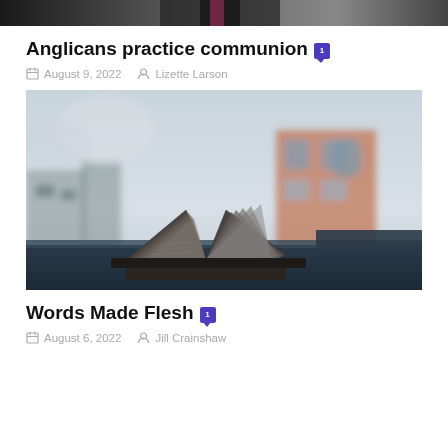[Figure (photo): Top portion of a photo showing a person in a dark suit and tie, cropped at the top of the page]
Anglicans practice communion 1
August 9, 2022   Lizette Larson
[Figure (photo): An open book with pages fanning open, placed on a dark surface outdoors with a blurred cityscape background including brick buildings]
Words Made Flesh 1
August 6, 2022   Jill Crainshaw